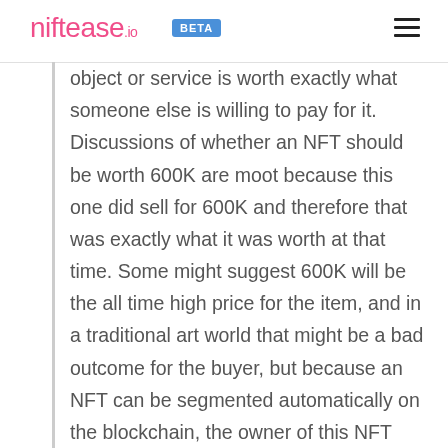niftease.io BETA
object or service is worth exactly what someone else is willing to pay for it. Discussions of whether an NFT should be worth 600K are moot because this one did sell for 600K and therefore that was exactly what it was worth at that time. Some might suggest 600K will be the all time high price for the item, and in a traditional art world that might be a bad outcome for the buyer, but because an NFT can be segmented automatically on the blockchain, the owner of this NFT doesn’t ever need to find a single buyer willing to pay more than 600K to earn